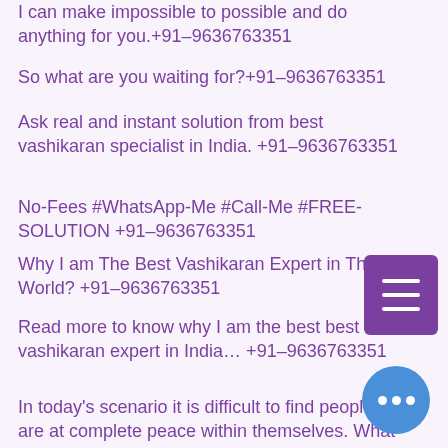I can make impossible to possible and do anything for you.+91–9636763351
So what are you waiting for?+91–9636763351
Ask real and instant solution from best vashikaran specialist in India. +91–9636763351
No-Fees #WhatsApp-Me #Call-Me #FREE-SOLUTION +91–9636763351
Why I am The Best Vashikaran Expert in The World? +91–9636763351
Read more to know why I am the best best vashikaran expert in India… +91–9636763351
In today's scenario it is difficult to find people who are at complete peace within themselves. What is the reason for that? +91–9636763351
The reason is unnecessary complications which takes away the peace of mind.+91–9636763351
+91–9636763351